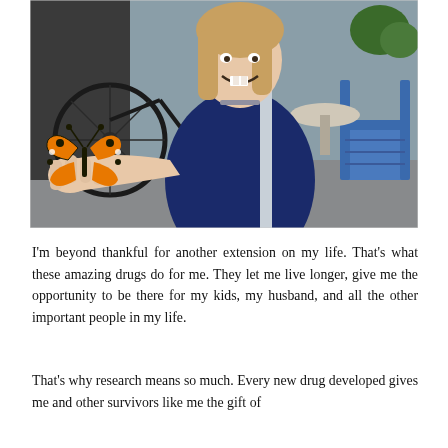[Figure (photo): A smiling young girl with missing front teeth, wearing a navy blue zip-up jacket and a choker necklace, holding out her hand with a monarch butterfly perched on her finger. Background shows bicycles and outdoor furniture.]
I'm beyond thankful for another extension on my life. That's what these amazing drugs do for me. They let me live longer, give me the opportunity to be there for my kids, my husband, and all the other important people in my life.
That's why research means so much. Every new drug developed gives me and other survivors like me the gift of